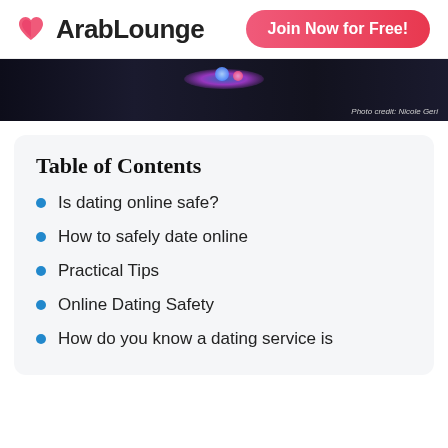ArabLounge | Join Now for Free!
[Figure (photo): Dark photo strip showing a phone/device with colorful glowing lights, credit: Photo credit: Nicole Geri]
Photo credit: Nicole Geri
Table of Contents
Is dating online safe?
How to safely date online
Practical Tips
Online Dating Safety
How do you know a dating service is